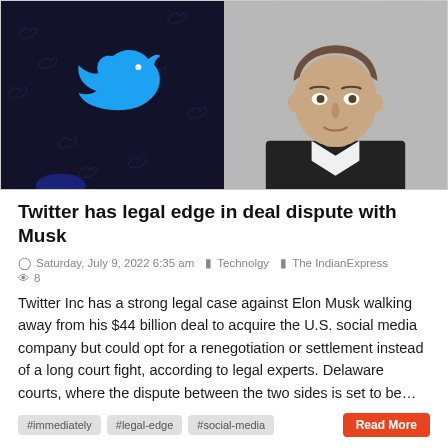[Figure (photo): Split image: left side shows Twitter logo (blue bird) on dark background; right side shows Elon Musk portrait photo]
Twitter has legal edge in deal dispute with Musk
Saturday, July 9, 2022 6:35 am  Technolgy  The IndianExpress  8
Twitter Inc has a strong legal case against Elon Musk walking away from his $44 billion deal to acquire the U.S. social media company but could opt for a renegotiation or settlement instead of a long court fight, according to legal experts. Delaware courts, where the dispute between the two sides is set to be…
#immediately  #legal-edge  #social-media  Read More